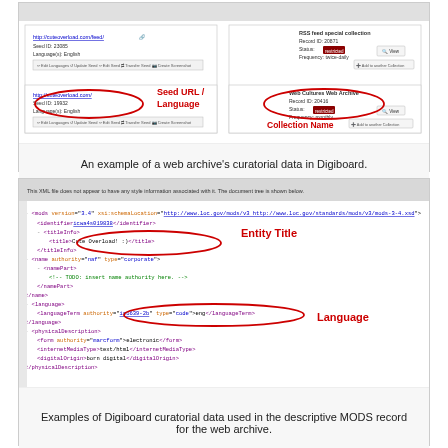[Figure (screenshot): Screenshot of Digiboard web interface showing two records with RSS feed collection and Web Cultures Web Archive. Red ovals highlight 'Seed URL / Language' and 'Collection Name' fields.]
An example of a web archive's curatorial data in Digiboard.
[Figure (screenshot): Screenshot of an XML MODS record in a browser. Red ovals highlight 'Entity Title' (title element showing 'Cute Overload!') and 'Language' (languageTerm element showing 'eng'). Labels in red sans-serif point to these elements.]
Examples of Digiboard curatorial data used in the descriptive MODS record for the web archive.